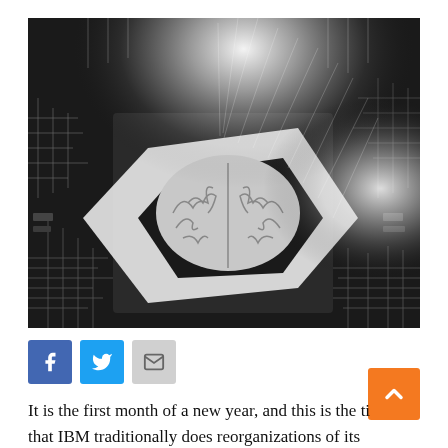[Figure (photo): Black and white photograph of a human brain sitting on top of a circuit board chip, with bright light rays emanating from the center, surrounded by circuit board traces and components.]
[Figure (infographic): Social sharing icons: Facebook (blue), Twitter (blue), and email/envelope (grey)]
It is the first month of a new year, and this is the ti that IBM traditionally does reorganizations of its